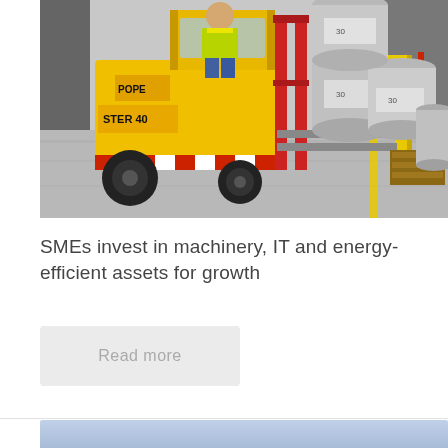[Figure (photo): A yellow Hyster 40 forklift being operated in a warehouse, carrying metal beer kegs stacked on a wooden pallet. The driver wears a high-visibility vest. Yellow safety barriers are visible in the background on the right.]
SMEs invest in machinery, IT and energy-efficient assets for growth
Read more
[Figure (photo): Partial view of another image below, showing a blue/grey gradient background — bottom of page crop.]